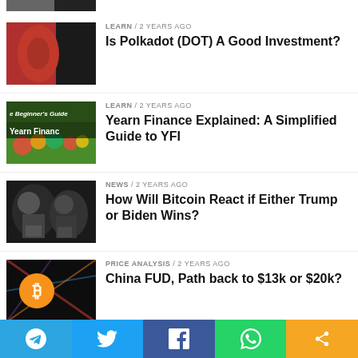[Figure (photo): Partial image at top, cropped]
LEARN / 2 years ago
Is Polkadot (DOT) A Good Investment?
[Figure (photo): Beginner's Guide Yearn Finance thumbnail with produce background]
LEARN / 2 years ago
Yearn Finance Explained: A Simplified Guide to YFI
[Figure (photo): Black and white photo of Trump and Biden]
NEWS / 2 years ago
How Will Bitcoin React if Either Trump or Biden Wins?
[Figure (photo): Bitcoin logo with orange circle on dark abstract background]
PRICE ANALYSIS / 2 years ago
China FUD, Path back to $13k or $20k?
[Figure (photo): Partial thumbnail at bottom, blue]
LEARN / 2 years ago
Social share bar: Telegram, Twitter, Facebook, WhatsApp, Share